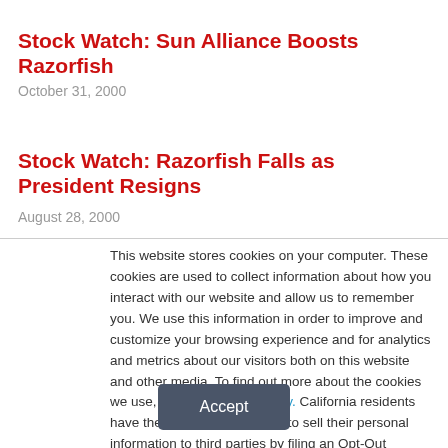Stock Watch: Sun Alliance Boosts Razorfish
October 31, 2000
Stock Watch: Razorfish Falls as President Resigns
August 28, 2000
This website stores cookies on your computer. These cookies are used to collect information about how you interact with our website and allow us to remember you. We use this information in order to improve and customize your browsing experience and for analytics and metrics about our visitors both on this website and other media. To find out more about the cookies we use, see our Privacy Policy. California residents have the right to direct us not to sell their personal information to third parties by filing an Opt-Out Request: Do Not Sell My Personal Info.